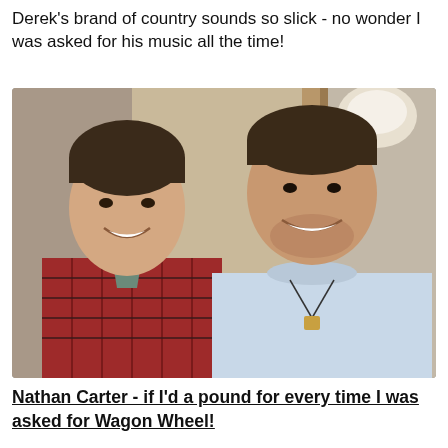Derek's brand of country sounds so slick - no wonder I was asked for his music all the time!
[Figure (photo): Two men standing side by side smiling in what appears to be a recording studio. The man on the left is wearing a red plaid shirt, the man on the right is wearing a light blue sweatshirt and has a pendant necklace.]
Nathan Carter - if I'd a pound for every time I was asked for Wagon Wheel!